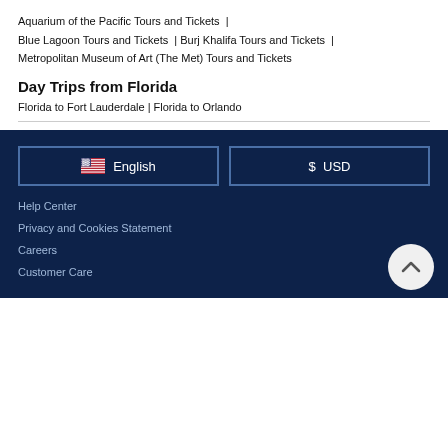Aquarium of the Pacific Tours and Tickets | Blue Lagoon Tours and Tickets | Burj Khalifa Tours and Tickets | Metropolitan Museum of Art (The Met) Tours and Tickets
Day Trips from Florida
Florida to Fort Lauderdale | Florida to Orlando
English | $ USD | Help Center | Privacy and Cookies Statement | Careers | Customer Care